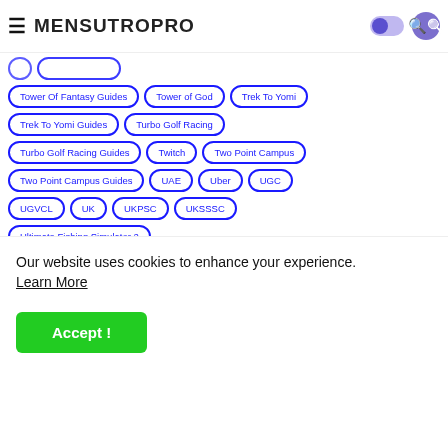MensutropRo (navigation header with hamburger menu, logo, dark mode toggle, search icon)
Tower Of Fantasy Guides
Tower of God
Trek To Yomi
Trek To Yomi Guides
Turbo Golf Racing
Turbo Golf Racing Guides
Twitch
Two Point Campus
Two Point Campus Guides
UAE
Uber
UGC
UGVCL
UK
UKPSC
UKSSSC
Ultimate Fishing Simulator 2
Ultimate Fishing Simulator 2 Guides
Underworld Gang Wars
University
Unrailed
Our website uses cookies to enhance your experience. Learn More
Accept !